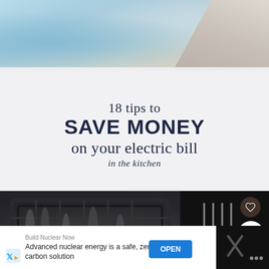[Figure (photo): Top portion of a web article page showing a light blue/grey background with a fabric or sheet texture, and a diagonal swoosh of grey/tan on the right side.]
18 tips to SAVE MONEY on your electric bill in the kitchen
[Figure (photo): Bottom photo showing a dark dishwasher basket filled with silverware and dishes, viewed from above.]
Build Nuclear Now
Advanced nuclear energy is a safe, zero-carbon solution
OPEN